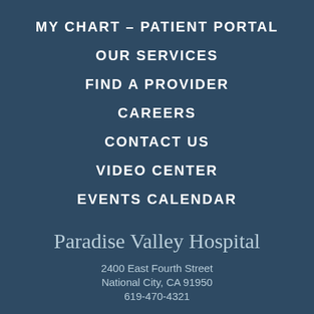MY CHART – PATIENT PORTAL
OUR SERVICES
FIND A PROVIDER
CAREERS
CONTACT US
VIDEO CENTER
EVENTS CALENDAR
Paradise Valley Hospital
2400 East Fourth Street
National City, CA 91950
619-470-4321